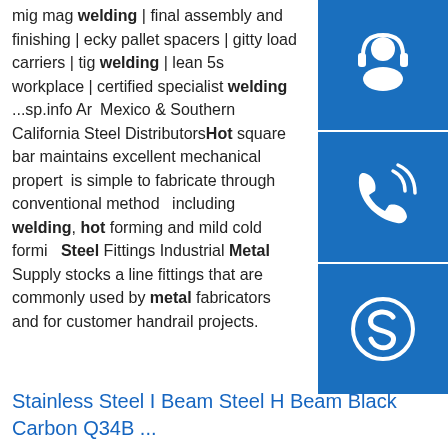mig mag welding | final assembly and finishing | ecky pallet spacers | gitty load carriers | tig welding | lean 5s workplace | certified specialist welding ...sp.info Arizona, Mexico & Southern California Steel DistributorsHot rolled square bar maintains excellent mechanical properties and is simple to fabricate through conventional methods, including welding, hot forming and mild cold forming. Steel Fittings Industrial Metal Supply stocks a line of fittings that are commonly used by metal fabricators and for customer handrail projects.
[Figure (illustration): Three blue sidebar buttons: headset/support icon, phone/call icon, Skype icon]
Stainless Steel I Beam Steel H Beam Black Carbon Q34B ...
Warehouse Steel Structure. Prefab Q235 Q345 CZ Purlin Warehouse Steel Structure. Buildings Q235 Q345 Qhhk Eps Panel Steel Frame Warehouse. Q235 Q345
[Figure (photo): Stack of steel H-beams/I-beams viewed from the end, showing multiple stacked steel structural members]